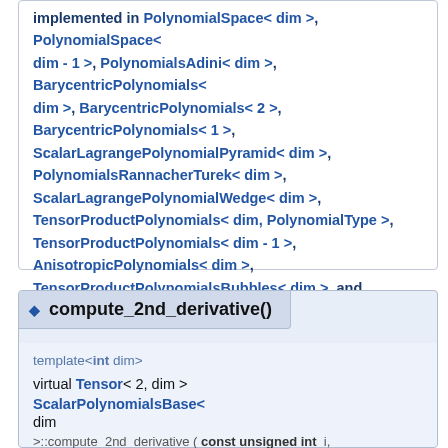implemented in PolynomialSpace< dim >, PolynomialSpace< dim - 1 >, PolynomialsAdini< dim >, BarycentricPolynomials< dim >, BarycentricPolynomials< 2 >, BarycentricPolynomials< 1 >, ScalarLagrangePolynomialPyramid< dim >, PolynomialsRannacherTurek< dim >, ScalarLagrangePolynomialWedge< dim >, TensorProductPolynomials< dim, PolynomialType >, TensorProductPolynomials< dim - 1 >, AnisotropicPolynomials< dim >, TensorProductPolynomialsBubbles< dim >, and TensorProductPolynomialsConst< dim >.
◆ compute_2nd_derivative()
template<int dim>
virtual Tensor< 2, dim > ScalarPolynomialsBase< dim >::compute_2nd_derivative( const unsigned int ...